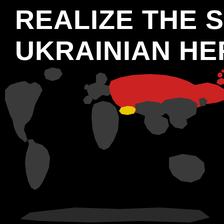REALIZE THE SCA... UKRAINIAN HERO...
[Figure (map): World map on black background with Russia highlighted in red and Ukraine highlighted in yellow, showing scale comparison between the two countries.]